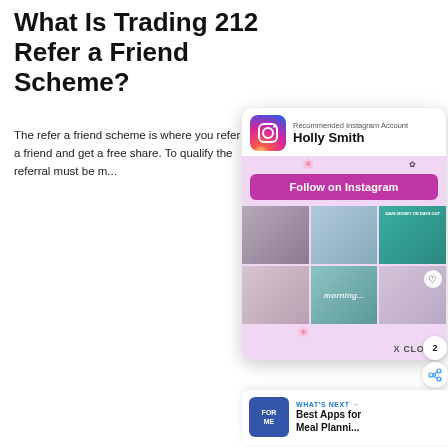What Is Trading 212 Refer a Friend Scheme?
The refer a friend scheme is where you refer a friend and get a free share. To qualify the referral must be m...
[Figure (screenshot): Instagram popup overlay recommending account 'Holly Smith' with a Follow on Instagram button and a grid of Instagram photos. Includes a share badge with number 2 and an X CLOSE button. A 'What's Next' card shows Best Apps for Meal Planni...]